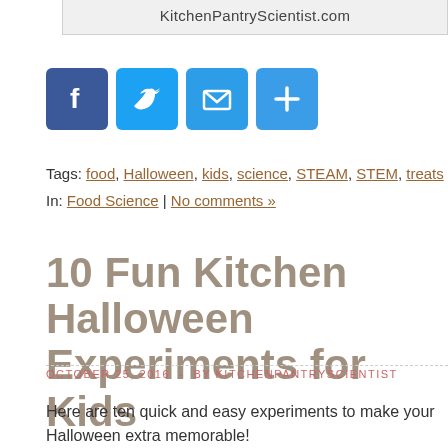KitchenPantryScientist.com
[Figure (other): Social share buttons: Facebook, Twitter, Email, More (plus sign) — all blue square icons]
Tags: food, Halloween, kids, science, STEAM, STEM, treats
In: Food Science | No comments »
10 Fun Kitchen Halloween Experiments for Kids
OCTOBER 25, 2016 - BY KITCHENPANTRYSCIENTIST
Here are ten quick and easy experiments to make your Halloween extra memorable!